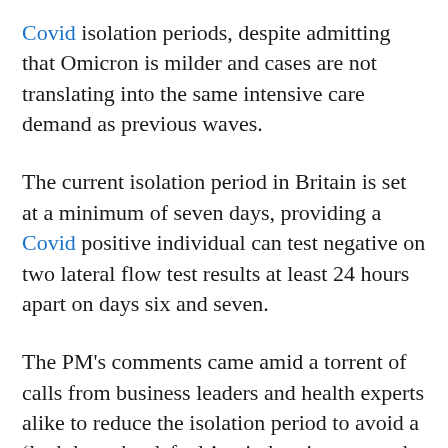Covid isolation periods, despite admitting that Omicron is milder and cases are not translating into the same intensive care demand as previous waves.
The current isolation period in Britain is set at a minimum of seven days, providing a Covid positive individual can test negative on two lateral flow test results at least 24 hours apart on days six and seven.
The PM's comments came amid a torrent of calls from business leaders and health experts alike to reduce the isolation period to avoid a 'lockdown by default' as industries across the nation face forced closures due to staff…